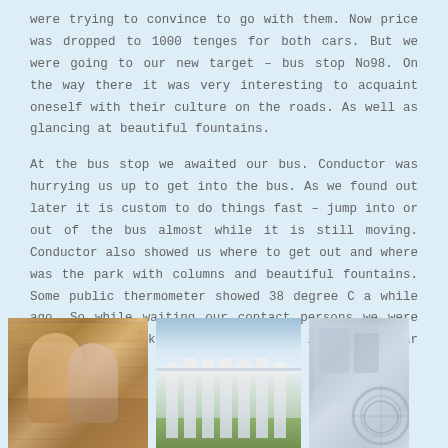were trying to convince to go with them. Now price was dropped to 1000 tenges for both cars. But we were going to our new target – bus stop No98. On the way there it was very interesting to acquaint oneself with their culture on the roads. As well as glancing at beautiful fountains.
At the bus stop we awaited our bus. Conductor was hurrying us up to get into the bus. As we found out later it is custom to do things fast – jump into or out of the bus almost while it is still moving. Conductor also showed us where to get out and where was the park with columns and beautiful fountains. Some public thermometer showed 38 degree C a while ago. So while waiting our contact persons we were sunbathing, taking photos and lounging near fountain.
[Figure (photo): People inside a bus, warm interior tones, two or more travellers visible]
[Figure (photo): Park with tall classical columns and overcast sky, green trees in background]
[Figure (photo): Close-up of fountain or outdoor decorative structure with circular/spiral motif overlay]